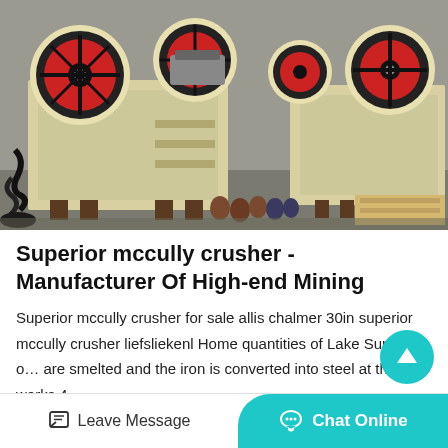[Figure (photo): Industrial jaw crusher machines (cream/yellow colored) with large red and black flywheels, sitting on a concrete floor in an outdoor factory yard. Multiple units visible.]
Superior mccully crusher - Manufacturer Of High-end Mining
Superior mccully crusher for sale allis chalmer 30in superior mccully crusher liefsliekenl Home quantities of Lake Superior o… are smelted and the iron is converted into steel at the works 4…
Leave Message  Chat Online